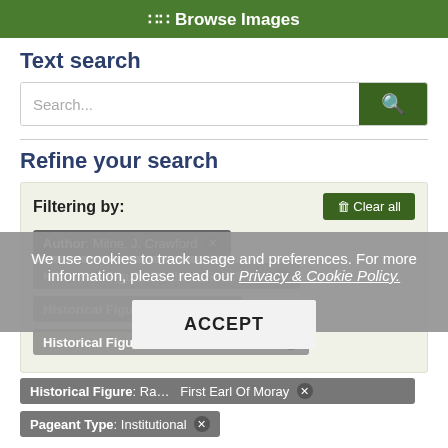Browse Images
Text search
[Figure (screenshot): Search input box with placeholder 'Search...' and a dark green search button with magnifying glass icon]
Refine your search
Filtering by:
Author: Milne, J. Crawford ✕
Historical Figure: Wallace, Sir William ✕
Historical Figure: Howard... ✕
Historical Figure: Moncreith, Sir John... ✕
Historical Figure: Ra... First Earl Of Moray ✕
Pageant Type: Institutional ✕
We use cookies to track usage and preferences. For more information, please read our Privacy & Cookie Policy.
ACCEPT